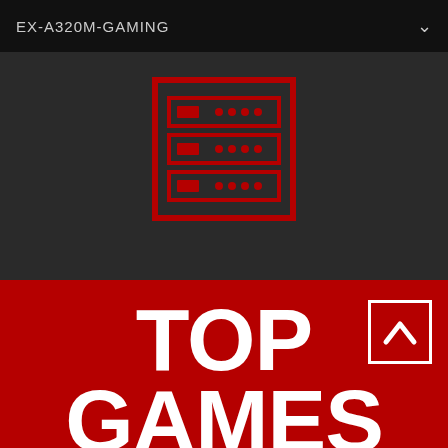EX-A320M-GAMING
[Figure (illustration): Red icon of a server rack / PC case with three horizontal rows of slots and indicators, outlined in red on dark background]
TOP GAMES